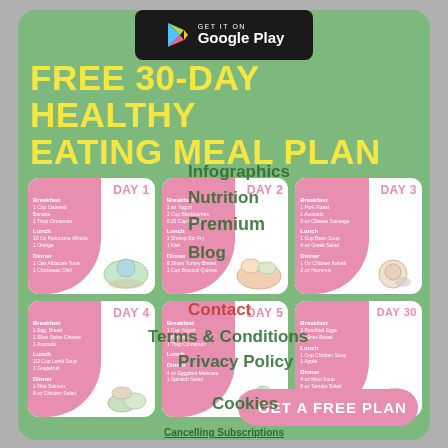[Figure (logo): GET IT ON Google Play badge - black rounded rectangle with Google Play logo and text]
FREE 30-DAY HEALTHY EATING MEAL PLAN
[Figure (infographic): 6 meal plan day cards in a 3x2 grid. DAY 1: Breakfast - 1 Cup Oatmeal, Banana, 1 Tbsp Cinnamon; Lunch - 10 Oz Fettuccine Alfredo, 1 Orange; Dinner - 1 Can Albacore Tuna, 1 Chickpeas Chili. DAY 2: Breakfast - 1 an Yogurt, 1 Cup Blackberries, 0.25 Cup Muesli; Lunch - 1 Shrimp Stir Fry, 1 Kiwi; Dinner - 8 Slices Turkey Breast, 1 Cup Broccoli Quinoa. DAY 3: Breakfast - 1 Pork Roast, 1 Avocado, 3 oz Cheese Sausage; Lunch - 1 Cup Bean Soup, 4 oz Greek Salad; Dinner - 1 Oz Chicken Kebab, 2 oz Hummus. DAY 4: Breakfast - 1 Egg, Bread, 1 Slice Swiss Cheese, 1 Avocado; Lunch - 1/2 Cup Lentil Soup, 1 Grapefruit; Dinner - 1 Filet Salmon, 8 oz Chicken Salad. DAY 5: Breakfast - 1 Cup Yogurt, 1 Banana, 1 Tbsp Cinnamon; Lunch - (text); Dinner - 4 oz Eggplant Marinara, 1 Spinach Salad. DAY 30: Breakfast - 2 Poached Eggs, 2 Slices Bread; Lunch - 1 Cup Chicken Soup, 1 Apple; Dinner - 4 oz Miso Soup, 8 oz Tomato Salad.]
GET A FREE PLAN
Cancelling Subscriptions